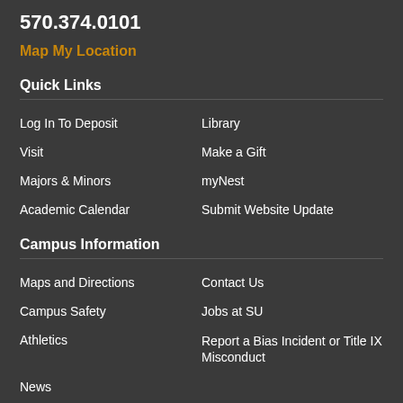570.374.0101
Map My Location
Quick Links
Log In To Deposit
Library
Visit
Make a Gift
Majors & Minors
myNest
Academic Calendar
Submit Website Update
Campus Information
Maps and Directions
Contact Us
Campus Safety
Jobs at SU
Athletics
Report a Bias Incident or Title IX Misconduct
News